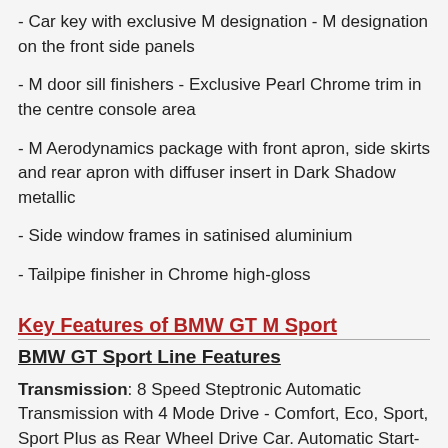- Car key with exclusive M designation - M designation on the front side panels
- M door sill finishers - Exclusive Pearl Chrome trim in the centre console area
- M Aerodynamics package with front apron, side skirts and rear apron with diffuser insert in Dark Shadow metallic
- Side window frames in satinised aluminium
- Tailpipe finisher in Chrome high-gloss
Key Features of BMW GT M Sport
BMW GT Sport Line Features
Transmission: 8 Speed Steptronic Automatic Transmission with 4 Mode Drive - Comfort, Eco, Sport, Sport Plus as Rear Wheel Drive Car. Automatic Start-Stop with Regenerative Braking